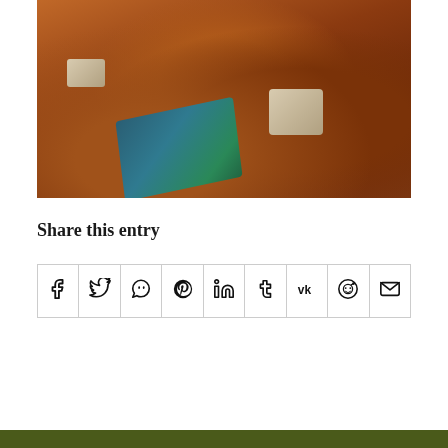[Figure (photo): Photograph of an open grave in reddish-brown earth, with a blue patterned prayer rug/mat and concrete stone markers visible. People's feet and legs visible at top edges of frame.]
Share this entry
[Figure (infographic): Row of 9 social sharing icon buttons: Facebook, Twitter, WhatsApp, Pinterest, LinkedIn, Tumblr, VK, Reddit, Email]